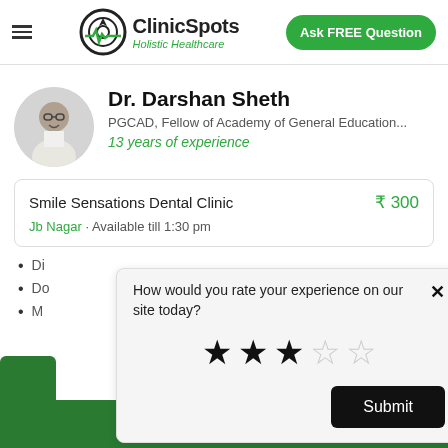ClinicSpots – Holistic Healthcare | Ask FREE Question
Dr. Darshan Sheth
PGCAD, Fellow of Academy of General Education...
13 years of experience
Smile Sensations Dental Clinic  ₹ 300
Jb Nagar · Available till 1:30 pm
Di
Do
M
How would you rate your experience on our site today?
[Figure (infographic): Star rating widget showing 3 out of 5 stars selected (3 filled, 2 empty)]
Submit